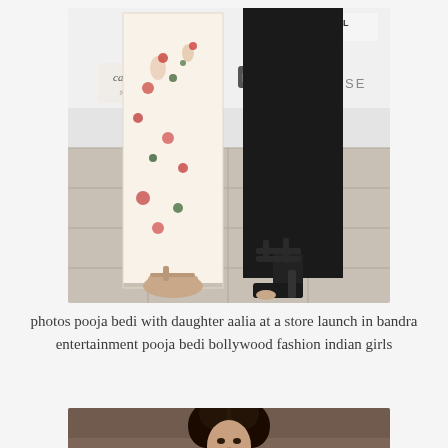[Figure (photo): Close-up photo of two women's feet and lower legs at a store launch event. Left person wears floral/printed wide-leg trousers and flat sandals. Right person wears black leggings and black platform heeled sandals. Background shows event banners including 'Casablanca', 'White Owl', 'NIC', and 'PAUSE' branding.]
photos pooja bedi with daughter aalia at a store launch in bandra entertainment pooja bedi bollywood fashion indian girls
[Figure (photo): Photo of a woman with dark curly hair, smiling, at an event. Partial view showing her face and upper body.]